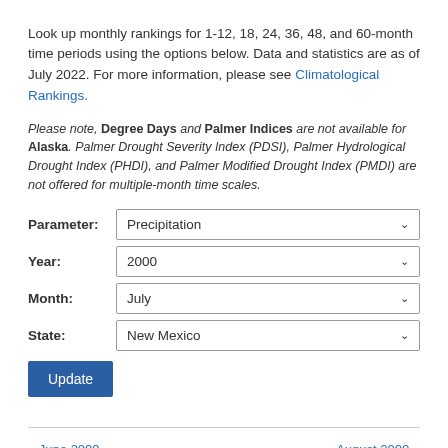Look up monthly rankings for 1-12, 18, 24, 36, 48, and 60-month time periods using the options below. Data and statistics are as of July 2022. For more information, please see Climatological Rankings.
Please note, Degree Days and Palmer Indices are not available for Alaska. Palmer Drought Severity Index (PDSI), Palmer Hydrological Drought Index (PHDI), and Palmer Modified Drought Index (PMDI) are not offered for multiple-month time scales.
Parameter: Precipitation
Year: 2000
Month: July
State: New Mexico
Update
« June 2000
August 2000 »
New Mexico
Precipitation Rankings, July 2000